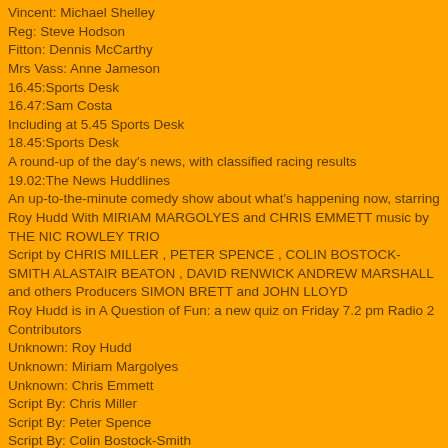Vincent: Michael Shelley
Reg: Steve Hodson
Fitton: Dennis McCarthy
Mrs Vass: Anne Jameson
16.45:Sports Desk
16.47:Sam Costa
Including at 5.45 Sports Desk
18.45:Sports Desk
A round-up of the day's news, with classified racing results
19.02:The News Huddlines
An up-to-the-minute comedy show about what's happening now, starring Roy Hudd With MIRIAM MARGOLYES and CHRIS EMMETT music by THE NIC ROWLEY TRIO
Script by CHRIS MILLER , PETER SPENCE , COLIN BOSTOCK-SMITH ALASTAIR BEATON , DAVID RENWICK ANDREW MARSHALL and others Producers SIMON BRETT and JOHN LLOYD
Roy Hudd is in A Question of Fun: a new quiz on Friday 7.2 pm Radio 2
Contributors
Unknown: Roy Hudd
Unknown: Miriam Margolyes
Unknown: Chris Emmett
Script By: Chris Miller
Script By: Peter Spence
Script By: Colin Bostock-Smith
Script By: Alastair Beaton
Script By: David Renwick
Script By: Andrew Marshall
Producers: Simon Brett
Producers: John Lloyd